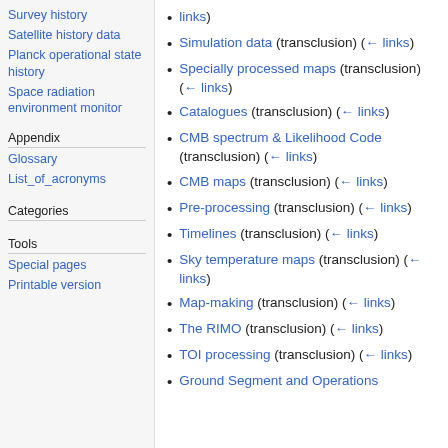Survey history
Satellite history data
Planck operational state history
Space radiation environment monitor
Appendix
Glossary
List_of_acronyms
Categories
Tools
Special pages
Printable version
links)
Simulation data (transclusion) (← links)
Specially processed maps (transclusion) (← links)
Catalogues (transclusion) (← links)
CMB spectrum & Likelihood Code (transclusion) (← links)
CMB maps (transclusion) (← links)
Pre-processing (transclusion) (← links)
Timelines (transclusion) (← links)
Sky temperature maps (transclusion) (← links)
Map-making (transclusion) (← links)
The RIMO (transclusion) (← links)
TOI processing (transclusion) (← links)
Ground Segment and Operations (transclusion) (← links)